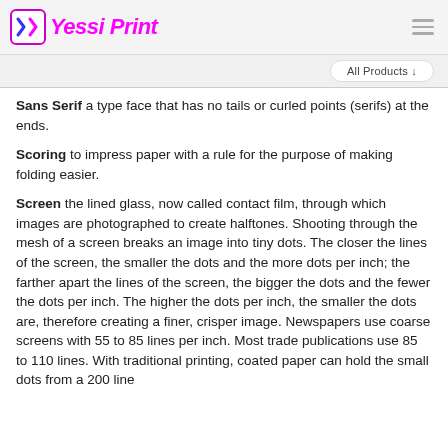Yessi Print
All Products ↓
Sans Serif a type face that has no tails or curled points (serifs) at the ends.
Scoring to impress paper with a rule for the purpose of making folding easier.
Screen the lined glass, now called contact film, through which images are photographed to create halftones. Shooting through the mesh of a screen breaks an image into tiny dots. The closer the lines of the screen, the smaller the dots and the more dots per inch; the farther apart the lines of the screen, the bigger the dots and the fewer the dots per inch. The higher the dots per inch, the smaller the dots are, therefore creating a finer, crisper image. Newspapers use coarse screens with 55 to 85 lines per inch. Most trade publications use 85 to 110 lines. With traditional printing, coated paper can hold the small dots from a 200 line